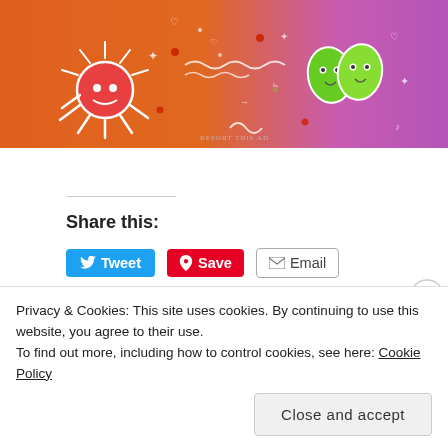[Figure (illustration): Colorful banner ad with orange-to-purple gradient background featuring cartoon illustrations: a red crab/sun creature on the left, green leaf characters on the right, and various doodles including hearts, stars, dots, and wavy lines throughout. 'REPORT THIS AD' text in small letters at bottom right.]
Share this:
Tweet  Save  Email
Loading...
POSTED IN TOP TEN TUESDAYS
Privacy & Cookies: This site uses cookies. By continuing to use this website, you agree to their use.
To find out more, including how to control cookies, see here: Cookie Policy
Close and accept